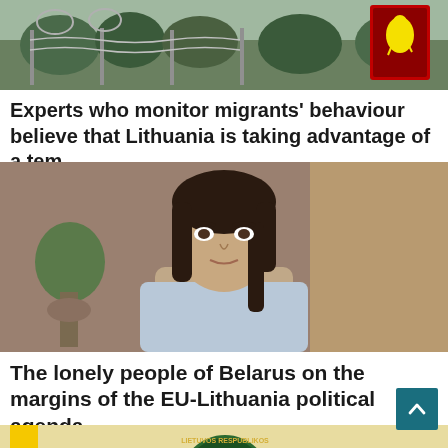[Figure (photo): Border fence with barbed wire and Lithuanian coat of arms sign in background, forest setting]
Experts who monitor migrants' behaviour believe that Lithuania is taking advantage of a tem…
[Figure (photo): Young woman with dark hair in formal interview-style setting, beige/light blue clothing]
The lonely people of Belarus on the margins of the EU-Lithuania political agenda
[Figure (photo): Diplomatic meeting scene with Lithuanian consulate badge, yellow-green-red flag visible on left, two men smiling]